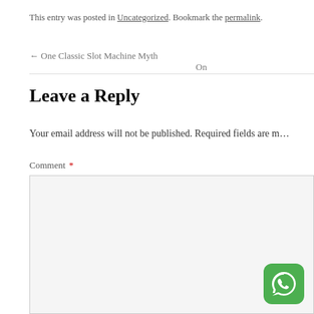This entry was posted in Uncategorized. Bookmark the permalink.
← One Classic Slot Machine Myth    On…
Leave a Reply
Your email address will not be published. Required fields are m…
Comment *
[Figure (illustration): WhatsApp floating button icon, green rounded square with white phone/chat bubble icon]